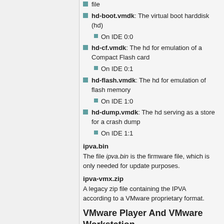file
hd-boot.vmdk: The virtual boot harddisk (hd)
On IDE 0:0
hd-cf.vmdk: The hd for emulation of a Compact Flash card
On IDE 0:1
hd-flash.vmdk: The hd for emulation of flash memory
On IDE 1:0
hd-dump.vmdk: The hd serving as a store for a crash dump
On IDE 1:1
ipva.bin
The file ipva.bin is the firmware file, which is only needed for update purposes.
ipva-vmx.zip
A legacy zip file containing the IPVA according to a VMware proprietary format.
VMware Player And VMware Workstation